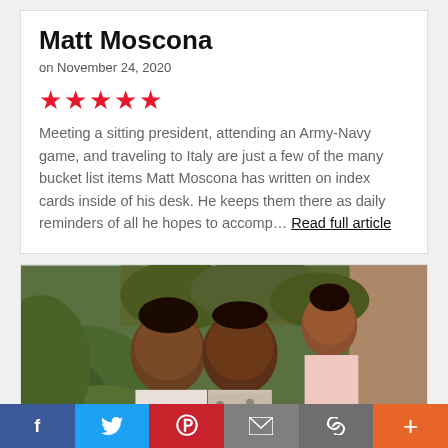Matt Moscona
on November 24, 2020
★★★★★
Meeting a sitting president, attending an Army-Navy game, and traveling to Italy are just a few of the many bucket list items Matt Moscona has written on index cards inside of his desk. He keeps them there as daily reminders of all he hopes to accomp… Read full article
[Figure (photo): Family photo of a man, woman, and young girl smiling outdoors with green foliage and a brick/stone column in the background.]
Social share bar: Facebook, Twitter, Pinterest, Email, Link, Plus